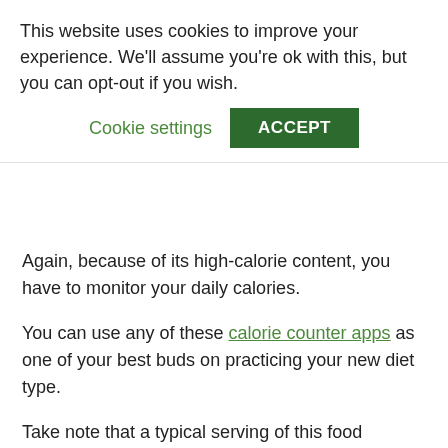This website uses cookies to improve your experience. We'll assume you're ok with this, but you can opt-out if you wish.
Cookie settings | ACCEPT
Again, because of its high-calorie content, you have to monitor your daily calories.
You can use any of these calorie counter apps as one of your best buds on practicing your new diet type.
Take note that a typical serving of this food provides around 30 grams of carbs and this can already prevent you from achieving weight loss and can increase your risk of developing heart disease.
Popcorn Alternatives for a Low-Carb Diet